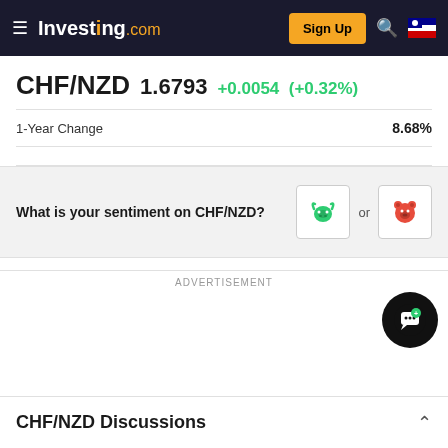Investing.com — Sign Up
CHF/NZD 1.6793 +0.0054 (+0.32%)
1-Year Change  8.68%
What is your sentiment on CHF/NZD?
ADVERTISEMENT
ADVERTISEMENT
CHF/NZD Discussions